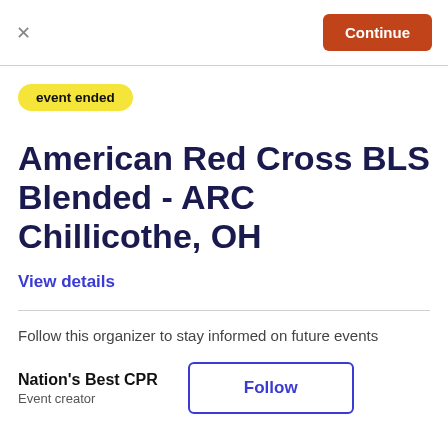× Continue
event ended
American Red Cross BLS Blended - ARC Chillicothe, OH
View details
Follow this organizer to stay informed on future events
Nation's Best CPR
Event creator
Follow